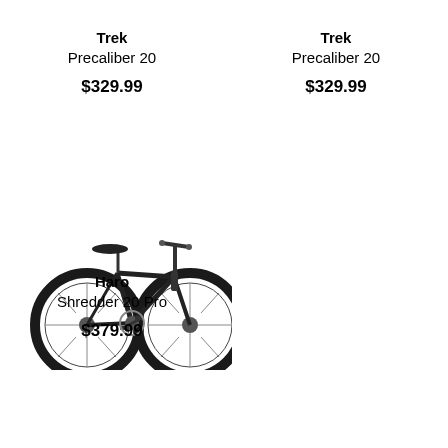Trek
Precaliber 20
$329.99
Trek
Precaliber 20
$329.99
[Figure (photo): Black BMX/youth bicycle (Haro Shredder 20 Pro) shown from the side on white background]
Haro
Shredder 20 Pro
$379.99